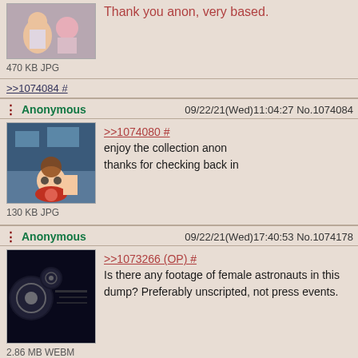[Figure (screenshot): Top partial post with anime image, text 'Thank you anon, very based.' and file size '470 KB JPG']
>>1074084 #
Anonymous 09/22/21(Wed)11:04:27 No.1074084
[Figure (screenshot): Anime character with sunglasses image, 130 KB JPG]
>>1074080 #
enjoy the collection anon
thanks for checking back in
Anonymous 09/22/21(Wed)17:40:53 No.1074178
[Figure (screenshot): Dark space/astronaut image thumbnail, 2.86 MB WEBM]
>>1073266 (OP) #
Is there any footage of female astronauts in this dump? Preferably unscripted, not press events.
>>1074181 # >>1074581 # >>1074582 # >>1086196 #